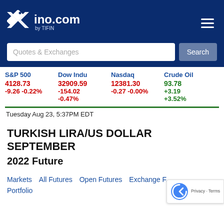ino.com by TIFIN
Quotes & Exchanges  Search
S&P 500
4128.73
-9.26 -0.22%

Dow Indu
32909.59
-154.02
-0.47%

Nasdaq
12381.30
-0.27 -0.00%

Crude Oil
93.78
+3.19
+3.52%
Tuesday Aug 23, 5:37PM EDT
TURKISH LIRA/US DOLLAR SEPTEMBER 2022 Future
Markets
All Futures
Open Futures
Exchange F...
Portfolio